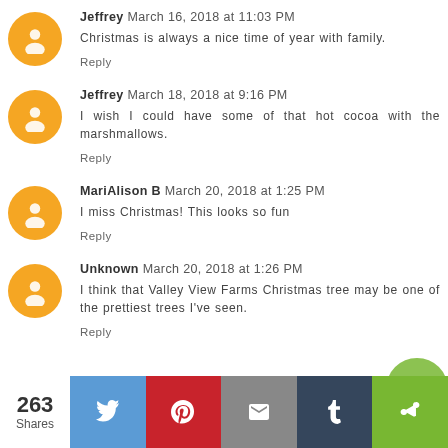Jeffrey March 16, 2018 at 11:03 PM
Christmas is always a nice time of year with family.
Reply
Jeffrey March 18, 2018 at 9:16 PM
I wish I could have some of that hot cocoa with the marshmallows.
Reply
MariAlison B March 20, 2018 at 1:25 PM
I miss Christmas! This looks so fun
Reply
Unknown March 20, 2018 at 1:26 PM
I think that Valley View Farms Christmas tree may be one of the prettiest trees I've seen.
Reply
263 Shares